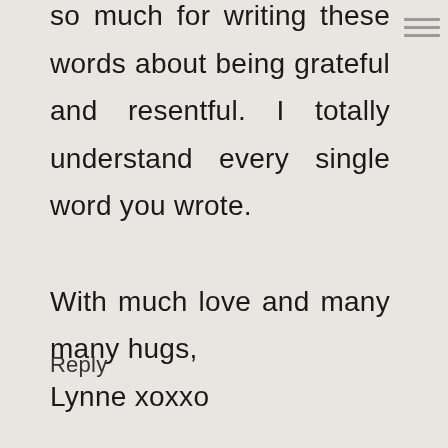so much for writing these words about being grateful and resentful. I totally understand every single word you wrote. With much love and many many hugs, Lynne xoxxo
Reply